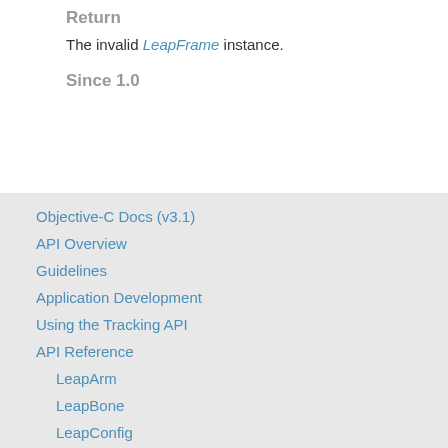Return
The invalid LeapFrame instance.
Since 1.0
Objective-C Docs (v3.1)
API Overview
Guidelines
Application Development
Using the Tracking API
API Reference
LeapArm
LeapBone
LeapConfig
LeapController
LeapDelegate
LeapDevice